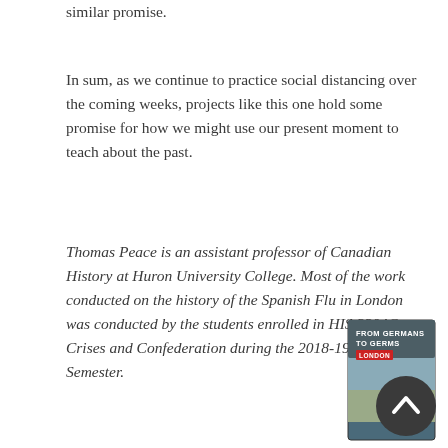similar promise.
In sum, as we continue to practice social distancing over the coming weeks, projects like this one hold some promise for how we might use our present moment to teach about the past.
Thomas Peace is an assistant professor of Canadian History at Huron University College. Most of the work conducted on the history of the Spanish Flu in London was conducted by the students enrolled in HIS 2204G: Crises and Confederation during the 2018-19 Winter Semester.
[Figure (photo): Book cover showing 'From Germans to Germs London' with a red label reading 'LONDON' and a historical photograph of a field or landscape scene]
[Figure (other): Dark circular scroll-to-top button with an upward chevron arrow]